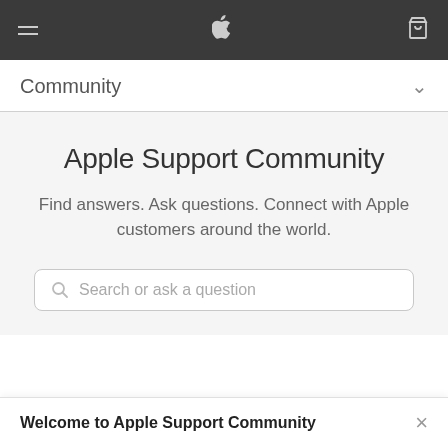Apple navigation bar with hamburger menu, Apple logo, and shopping bag icon
Community
Apple Support Community
Find answers. Ask questions. Connect with Apple customers around the world.
[Figure (screenshot): Search bar with placeholder text 'Search or ask a question' and a magnifying glass icon]
Welcome to Apple Support Community